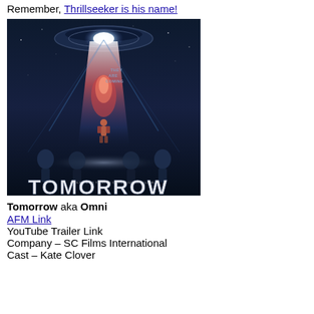Remember, Thrillseeker is his name!
[Figure (photo): Movie poster for 'Tomorrow' (aka Omni). Dark sci-fi themed poster with a beam of light from a UFO/spacecraft above shining down on a lone figure standing below. Text on poster reads 'THEY ARE COMING' and 'TOMORROW' in large letters at the bottom, with 'A FILM FROM TRISTAN CORNELIUS STRELLER' credit line.]
Tomorrow aka Omni
AFM Link
YouTube Trailer Link
Company – SC Films International
Cast – Kate Clover